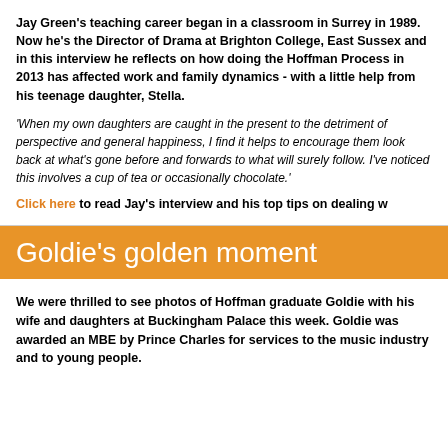Jay Green's teaching career began in a classroom in Surrey in 1989. Now he's the Director of Drama at Brighton College, East Sussex and in this interview he reflects on how doing the Hoffman Process in 2013 has affected work and family dynamics - with a little help from his teenage daughter, Stella.
'When my own daughters are caught in the present to the detriment of perspective and general happiness, I find it helps to encourage them look back at what's gone before and forwards to what will surely follow. I've noticed this involves a cup of tea or occasionally chocolate.'
Click here to read Jay's interview and his top tips on dealing w
Goldie's golden moment
We were thrilled to see photos of Hoffman graduate Goldie with his wife and daughters at Buckingham Palace this week. Goldie was awarded an MBE by Prince Charles for services to the music industry and to young people.